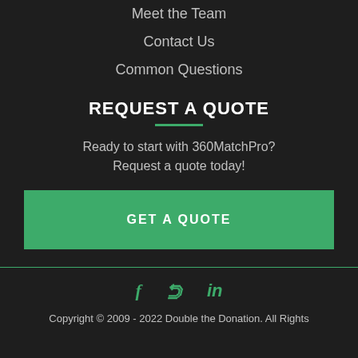Meet the Team
Contact Us
Common Questions
REQUEST A QUOTE
Ready to start with 360MatchPro? Request a quote today!
GET A QUOTE
[Figure (illustration): Social media icons: Facebook, Twitter, LinkedIn in green]
Copyright © 2009 - 2022 Double the Donation. All Rights